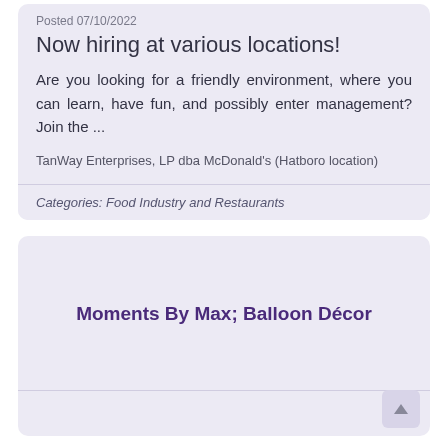Posted 07/10/2022
Now hiring at various locations!
Are you looking for a friendly environment, where you can learn, have fun, and possibly enter management? Join the ...
TanWay Enterprises, LP dba McDonald's (Hatboro location)
Categories: Food Industry and Restaurants
Moments By Max; Balloon Décor